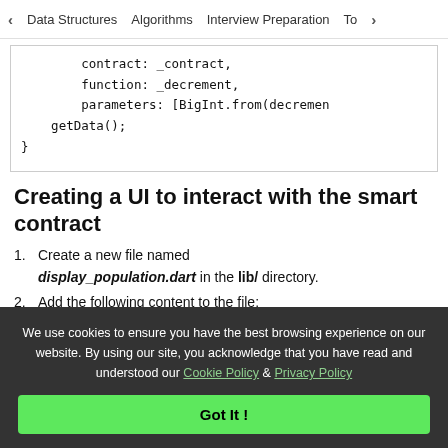< Data Structures   Algorithms   Interview Preparation   To>
[Figure (screenshot): Code block showing: contract: _contract, function: _decrement, parameters: [BigInt.from(decremen  getData(); }]
Creating a UI to interact with the smart contract
1. Create a new file named display_population.dart in the lib/ directory.
2. Add the following content to the file:
We use cookies to ensure you have the best browsing experience on our website. By using our site, you acknowledge that you have read and understood our Cookie Policy & Privacy Policy
Got It !